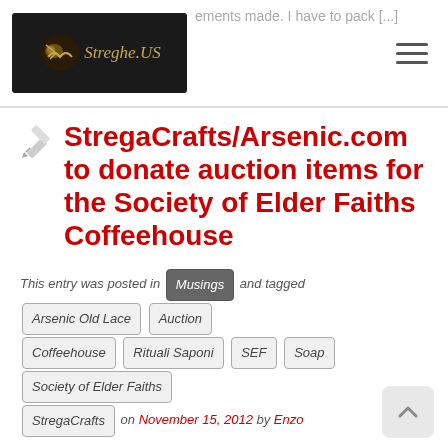Streghe.US — ements made. I have to pack [...]
StregaCrafts/Arsenic.com to donate auction items for the Society of Elder Faiths Coffeehouse
This entry was posted in Musings and tagged Arsenic Old Lace Auction Coffeehouse Rituali Saponi SEF Soap Society of Elder Faiths StregaCrafts on November 15, 2012 by Enzo
Ciao a tutti, The Society of Elder Faiths is having their annual Coffeehouse on Saturday, November 17th. As an active member of the Pagan community and as a (board-) member of the SEF, I think that it's very important that we support our local organizations. Any organization is only as [...]